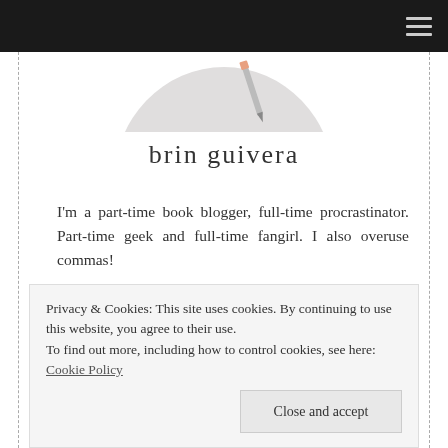Navigation bar with hamburger menu
[Figure (illustration): Partial view of a profile photo or illustration — pencil/pen visible at top]
brin guivera
I'm a part-time book blogger, full-time procrastinator. Part-time geek and full-time fangirl. I also overuse commas!
View Full Profile →
Privacy & Cookies: This site uses cookies. By continuing to use this website, you agree to their use.
To find out more, including how to control cookies, see here: Cookie Policy
Close and accept